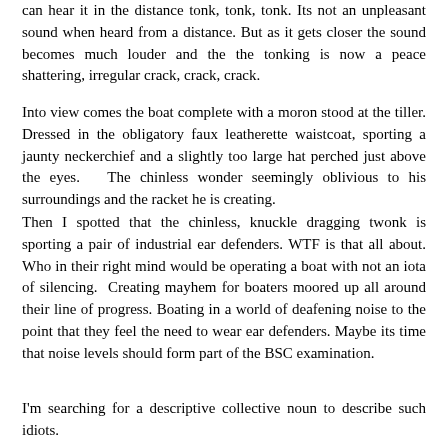can hear it in the distance tonk, tonk, tonk. Its not an unpleasant sound when heard from a distance. But as it gets closer the sound becomes much louder and the the tonking is now a peace shattering, irregular crack, crack, crack.
Into view comes the boat complete with a moron stood at the tiller. Dressed in the obligatory faux leatherette waistcoat, sporting a jaunty neckerchief and a slightly too large hat perched just above the eyes. The chinless wonder seemingly oblivious to his surroundings and the racket he is creating.
Then I spotted that the chinless, knuckle dragging twonk is sporting a pair of industrial ear defenders. WTF is that all about. Who in their right mind would be operating a boat with not an iota of silencing. Creating mayhem for boaters moored up all around their line of progress. Boating in a world of deafening noise to the point that they feel the need to wear ear defenders. Maybe its time that noise levels should form part of the BSC examination.
I'm searching for a descriptive collective noun to describe such idiots.